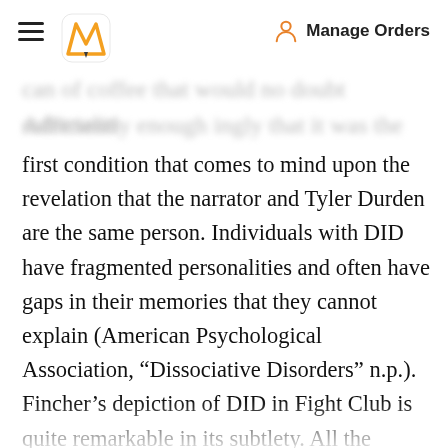Manage Orders
first condition that comes to mind upon the revelation that the narrator and Tyler Durden are the same person. Individuals with DID have fragmented personalities and often have gaps in their memories that they cannot explain (American Psychological Association, “Dissociative Disorders” n.p.). Fincher’s depiction of DID in Fight Club is quite remarkable in its subtlety. All the details point to the fact that the narrator and Tyler are possibly the same individual—they are rarely seen together when other people are around and they only interact when they are alone. Furthermore, by presenting the unnamed narrator as an unreliable narrator, Fincher was able to justify the